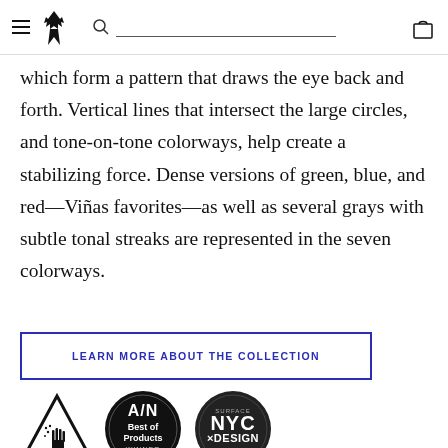[Navigation: hamburger menu, wolf logo, search bar, cart icon]
which form a pattern that draws the eye back and forth. Vertical lines that intersect the large circles, and tone-on-tone colorways, help create a stabilizing force. Dense versions of green, blue, and red—Viñas favorites—as well as several grays with subtle tonal streaks are represented in the seven colorways.
LEARN MORE ABOUT THE COLLECTION
[Figure (logo): Three award badges/seals: a triangular warning-style badge with hand symbol, AN Best of Products WINNER circular badge, and NYC x DESIGN award winner circular badge]